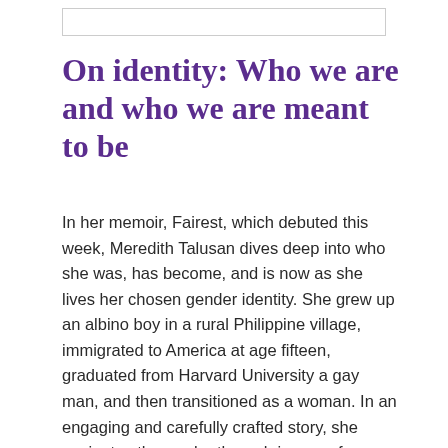[Figure (other): Empty rectangular box at the top of the page, likely a placeholder for an image]
On identity: Who we are and who we are meant to be
In her memoir, Fairest, which debuted this week, Meredith Talusan dives deep into who she was, has become, and is now as she lives her chosen gender identity. She grew up an albino boy in a rural Philippine village, immigrated to America at age fifteen, graduated from Harvard University a gay man, and then transitioned as a woman. In an engaging and carefully crafted story, she navigates the reader through issues of race, class, sexuality, and love as she explores the intersection of her identities as a white-appearing immigrant and a gender-